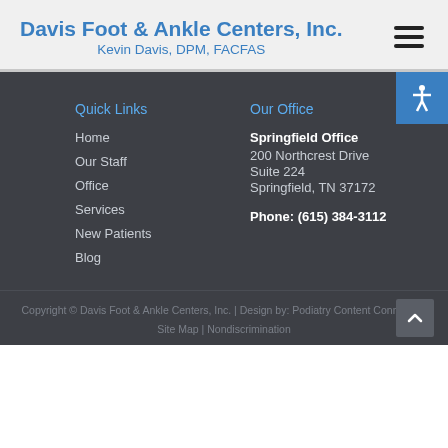Davis Foot & Ankle Centers, Inc. Kevin Davis, DPM, FACFAS
Quick Links
Home
Our Staff
Office
Services
New Patients
Blog
Our Office
Springfield Office
200 Northcrest Drive
Suite 224
Springfield, TN 37172

Phone: (615) 384-3112
Copyright © Davis Foot & Ankle Centers, Inc. | Design by: Podiatry Content Connection
Site Map | Nondiscrimination